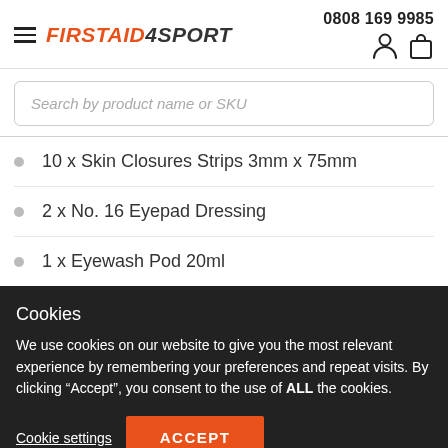FIRSTAID4SPORT | 0808 169 9985
Search by product name or SKU
10 x Skin Closures Strips 3mm x 75mm
2 x No. 16 Eyepad Dressing
1 x Eyewash Pod 20ml
Cookies
We use cookies on our website to give you the most relevant experience by remembering your preferences and repeat visits. By clicking “Accept”, you consent to the use of ALL the cookies.
Cookie settings | ACCEPT